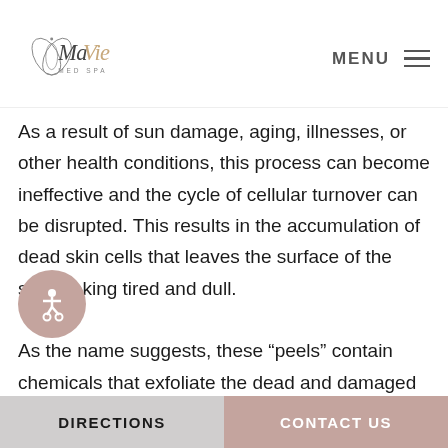Ma Vie Med Spa — MENU
As a result of sun damage, aging, illnesses, or other health conditions, this process can become ineffective and the cycle of cellular turnover can be disrupted. This results in the accumulation of dead skin cells that leaves the surface of the skin looking tired and dull.
As the name suggests, these “peels” contain chemicals that exfoliate the dead and damaged skin cells on a deeper
DIRECTIONS   CONTACT US